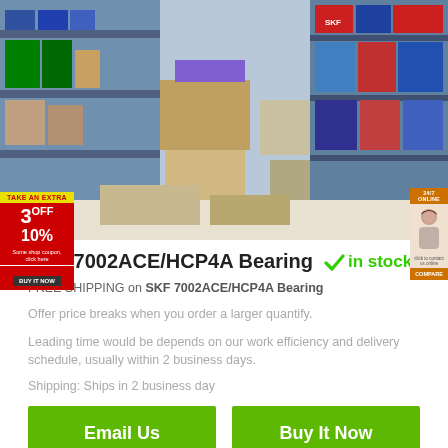[Figure (photo): Warehouse shelves stacked with boxes of bearings and industrial parts in various packaging]
SKF 7002ACE/HCP4A Bearing ✓in stock
FREE SHIPPING on SKF 7002ACE/HCP4A Bearing
Offer price breaks when you order a larger quantify.
Leading time would be depends on our work efficiency and delivery schedule, usually within 2 business days.
Shipping: Ships in 2 business day
Email Us
Buy It Now
1) Quality Assurance: Official Authorized For 100% Guaranteed As Described